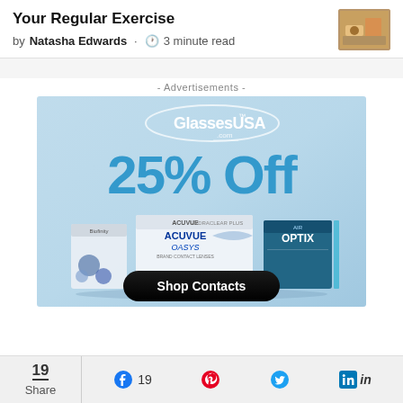Your Regular Exercise
by Natasha Edwards · 3 minute read
- Advertisements -
[Figure (photo): GlassesUSA advertisement banner showing 25% Off contact lenses with product images of Biofinity, Acuvue Oasys, and Air Optix boxes, and a Shop Contacts button]
19 Share  19  (Facebook, Pinterest, Twitter, LinkedIn social share icons)